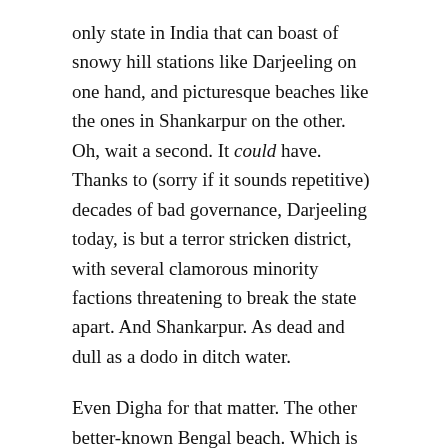only state in India that can boast of snowy hill stations like Darjeeling on one hand, and picturesque beaches like the ones in Shankarpur on the other. Oh, wait a second. It could have. Thanks to (sorry if it sounds repetitive) decades of bad governance, Darjeeling today, is but a terror stricken district, with several clamorous minority factions threatening to break the state apart. And Shankarpur. As dead and dull as a dodo in ditch water.
Even Digha for that matter. The other better-known Bengal beach. Which is today, no different from a fish market.
One glance at the western states and you'll notice the difference. While hill stations in Uttaranchal, Himachal Pradesh and Kashmir, thrive par excellence as numero uno tourist spots, and beaches like the ones in Goa outshine as world class tourist attractions, good old Bengal remains stuck in the cesspool of abject